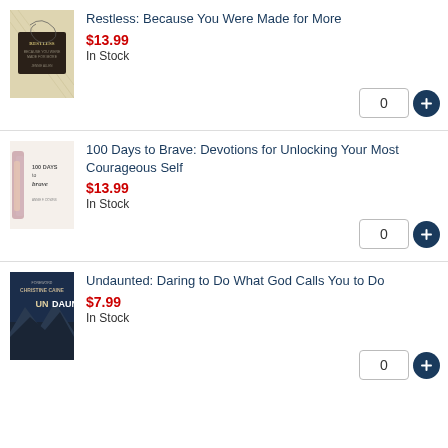[Figure (photo): Book cover for Restless: Because You Were Made for More - yellow/cream plaid background with dark overlay and handwriting]
Restless: Because You Were Made for More
$13.99
In Stock
[Figure (photo): Book cover for 100 Days to Brave: Devotions for Unlocking Your Most Courageous Self - white cover with colorful abstract brush strokes]
100 Days to Brave: Devotions for Unlocking Your Most Courageous Self
$13.99
In Stock
[Figure (photo): Book cover for Undaunted: Daring to Do What God Calls You to Do - dark blue cover with Christine Caine author name and mountain landscape]
Undaunted: Daring to Do What God Calls You to Do
$7.99
In Stock